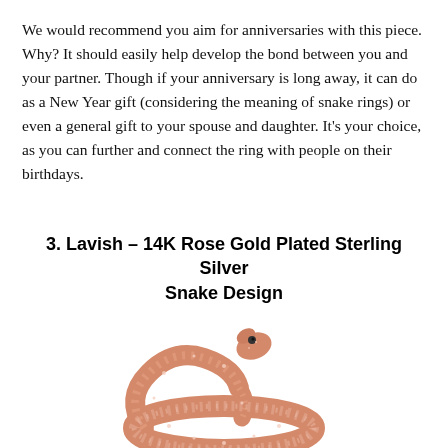We would recommend you aim for anniversaries with this piece. Why? It should easily help develop the bond between you and your partner. Though if your anniversary is long away, it can do as a New Year gift (considering the meaning of snake rings) or even a general gift to your spouse and daughter. It's your choice, as you can further and connect the ring with people on their birthdays.
3. Lavish – 14K Rose Gold Plated Sterling Silver Snake Design
[Figure (photo): A rose gold plated sterling silver snake ring with glittery texture, shown as a coiled snake shape in a pinkish-rose gold color with sparkling crystal-encrusted surface.]